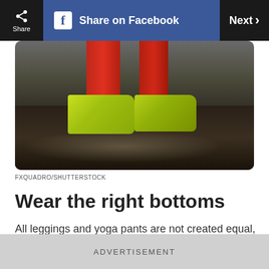Share | Share on Facebook | Next >
[Figure (photo): Close-up photo of a person's legs wearing red leggings and yellow-green sneakers on a dark reflective floor]
FXQUADRO/SHUTTERSTOCK
Wear the right bottoms
All leggings and yoga pants are not created equal, so do a spot check before you hit class. "Just because pants are black does not mean they are opaque," says Rebecca Weible, founder of Yo Yoga. "Some leggings are meant to be worn under
ADVERTISEMENT